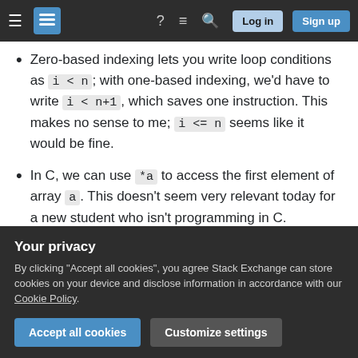Stack Exchange navigation bar with hamburger menu, logo, help, chat, search icons, Log in and Sign up buttons
Zero-based indexing lets you write loop conditions as i < n; with one-based indexing, we'd have to write i < n+1, which saves one instruction. This makes no sense to me; i <= n seems like it would be fine.
In C, we can use *a to access the first element of array a. This doesn't seem very relevant today for a new student who isn't programming in C.
With zero-based indexing, the expression [partial, cut off by privacy banner]
Your privacy
By clicking "Accept all cookies", you agree Stack Exchange can store cookies on your device and disclose information in accordance with our Cookie Policy.
[Accept all cookies] [Customize settings]
often optimize this away?), but more